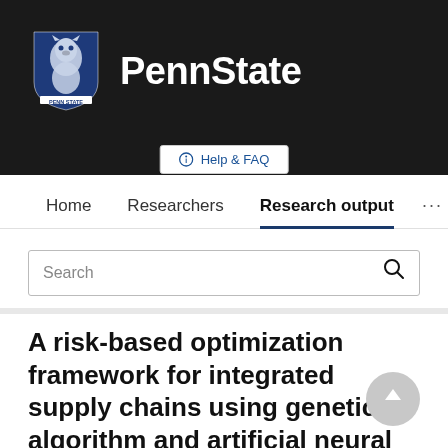[Figure (logo): Penn State University logo: white shield with lion mascot on dark navy blue background, with 'PennState' text in white bold font to the right, all on a black header bar]
Help & FAQ
Home   Researchers   Research output   ...
Search
A risk-based optimization framework for integrated supply chains using genetic algorithm and artificial neural networks